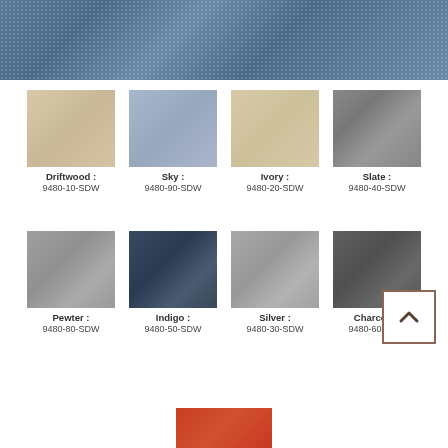[Figure (photo): Blue-gray fabric texture swatch, top banner]
[Figure (other): Color swatch grid showing 8 fabric color options: Driftwood 9480-10-SDW, Sky 9480-90-SDW, Ivory 9480-20-SDW, Slate 9480-40-SDW, Pewter 9480-80-SDW, Indigo 9480-50-SDW, Silver 9480-30-SDW, Charcoal 9480-60-SDW]
[Figure (photo): Red-orange fabric swatch partial view at bottom]